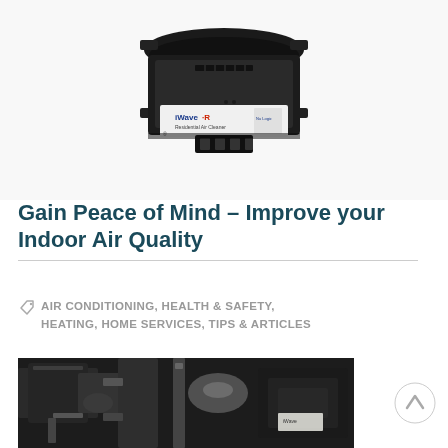[Figure (photo): iWave-R residential air cleaner device, a black square electronic unit with a white label showing 'iWave R Residential Air Cleaner' branding]
Gain Peace of Mind – Improve your Indoor Air Quality
AIR CONDITIONING, HEALTH & SAFETY, HEATING, HOME SERVICES, TIPS & ARTICLES
[Figure (photo): Close-up photo of HVAC ductwork and mechanical components in dark tones]